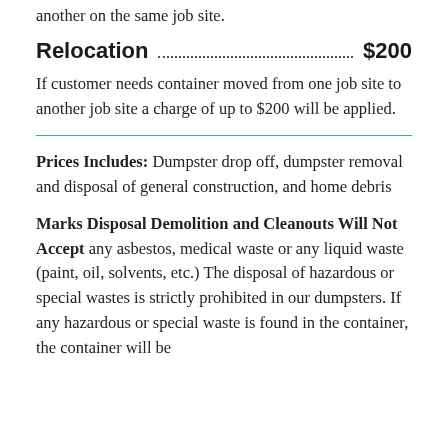another on the same job site.
Relocation  $200
If customer needs container moved from one job site to another job site a charge of up to $200 will be applied.
Prices Includes: Dumpster drop off, dumpster removal and disposal of general construction, and home debris
Marks Disposal Demolition and Cleanouts Will Not Accept any asbestos, medical waste or any liquid waste (paint, oil, solvents, etc.) The disposal of hazardous or special wastes is strictly prohibited in our dumpsters. If any hazardous or special waste is found in the container, the container will be